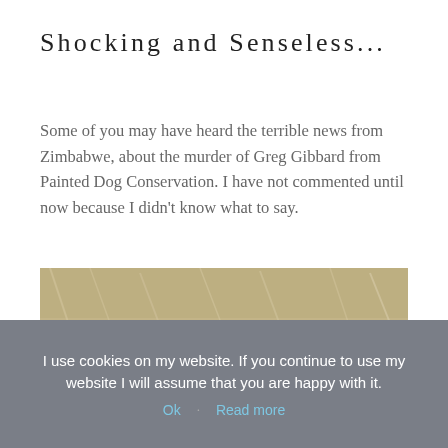Shocking and Senseless...
Some of you may have heard the terrible news from Zimbabwe, about the murder of Greg Gibbard from Painted Dog Conservation. I have not commented until now because I didn't know what to say.
[Figure (photo): Close-up photograph of two painted dog (African wild dog) ears viewed from behind, showing dark rounded ears with lighter fur, against a blurred natural grassland background.]
I use cookies on my website. If you continue to use my website I will assume that you are happy with it.
Ok   Read more